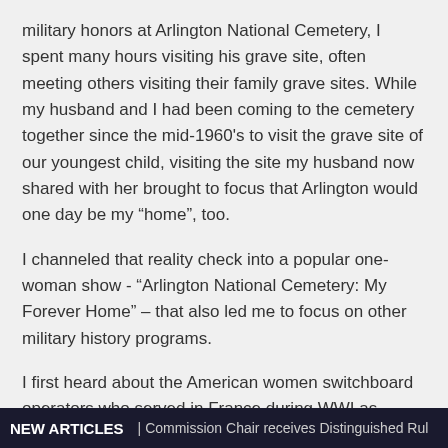military honors at Arlington National Cemetery, I spent many hours visiting his grave site, often meeting others visiting their family grave sites. While my husband and I had been coming to the cemetery together since the mid-1960's to visit the grave site of our youngest child, visiting the site my husband now shared with her brought to focus that Arlington would one day be my “home”, too.
I channeled that reality check into a popular one-woman show - "Arlington National Cemetery: My Forever Home" – that also led me to focus on other military history programs.
I first heard about the American women switchboard operators who served in France during WWI as members of the Signal Corps, at the Women in Military Service Foundation archives (WIMSA) which is an amazing resource.
NEW ARTICLES | Commission Chair receives Distinguished Rul